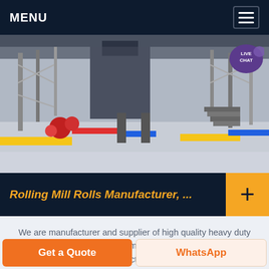MENU
[Figure (photo): Industrial factory interior showing heavy rolling mill machinery with large metal structures, colorful yellow, red, and blue painted floor barriers, and structural steel framework overhead. A 'LIVE CHAT' speech bubble icon appears in the top-right corner of the image.]
Rolling Mill Rolls Manufacturer, ...
We are manufacturer and supplier of high quality heavy duty rolls which are used in tube mills. The high quality range of tube mill roll sets is manufactured in accordance with the
Get a Quote | WhatsApp